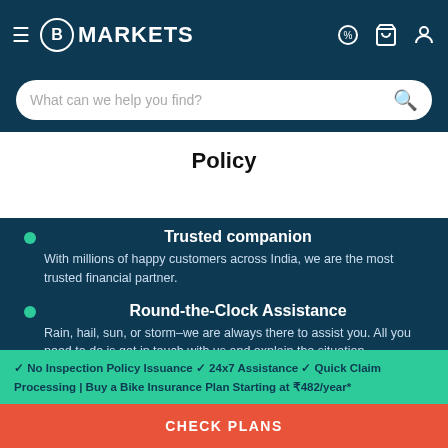BankBazaar MARKETS
What can we help you find?
Policy
Trusted companion
With millions of happy customers across India, we are the most trusted financial partner.
Round-the-Clock Assistance
Rain, hail, sun, or storm–we are always there to assist you. All you need to do is get in touch with us and explain the situation.
Customised Insurance Plans
We enable you to tailor your policy by keeping different plans and a plethora of add-ons available to you.
✓ No Inspection Policy Issuance ✓ 24x7 Assistance ✓ Quick Claim Processing | Buy a Bike Insurance Plan Starting at ₹482/year*
CHECK PLANS